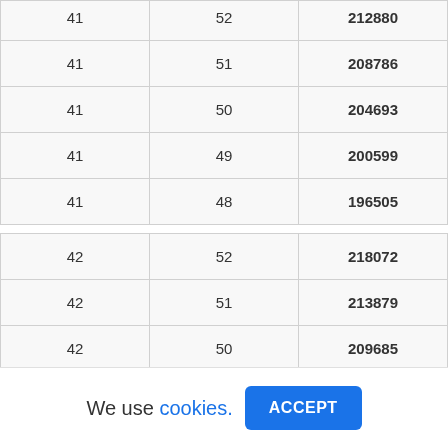| 41 | 52 | 212880 |
| 41 | 51 | 208786 |
| 41 | 50 | 204693 |
| 41 | 49 | 200599 |
| 41 | 48 | 196505 |
| 42 | 52 | 218072 |
| 42 | 51 | 213879 |
| 42 | 50 | 209685 |
| 42 | 49 | 205491 |
We use cookies. ACCEPT